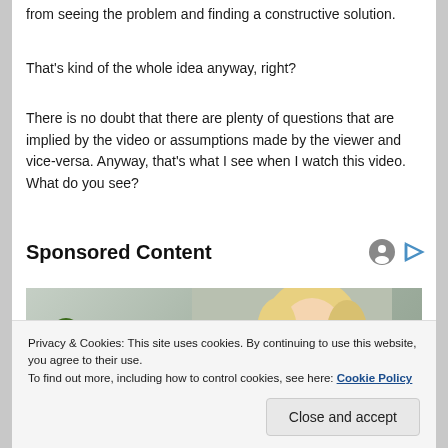from seeing the problem and finding a constructive solution.
That's kind of the whole idea anyway, right?
There is no doubt that there are plenty of questions that are implied by the video or assumptions made by the viewer and vice-versa. Anyway, that's what I see when I watch this video. What do you see?
Sponsored Content
[Figure (photo): Blonde woman looking down, with green plant in background]
Privacy & Cookies: This site uses cookies. By continuing to use this website, you agree to their use.
To find out more, including how to control cookies, see here: Cookie Policy